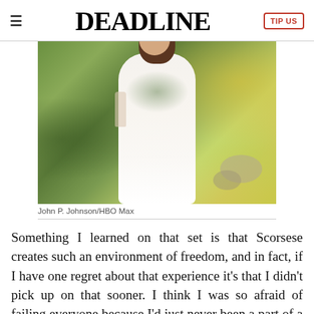≡  DEADLINE  TIP US
[Figure (photo): Woman in white floral-embroidered dress holding a glass, standing outdoors among garden greenery]
John P. Johnson/HBO Max
Something I learned on that set is that Scorsese creates such an environment of freedom, and in fact, if I have one regret about that experience it's that I didn't pick up on that sooner. I think I was so afraid of failing everyone because I'd just never been a part of a movie that big. The first couple things I shot, I look back now and I'm like, "Oh, I wish I'd known that I was in such a safe space to